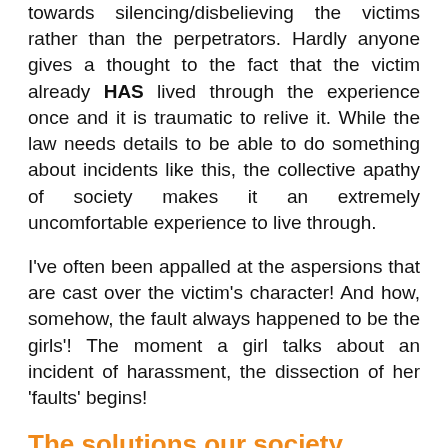towards silencing/disbelieving the victims rather than the perpetrators. Hardly anyone gives a thought to the fact that the victim already HAS lived through the experience once and it is traumatic to relive it. While the law needs details to be able to do something about incidents like this, the collective apathy of society makes it an extremely uncomfortable experience to live through.
I've often been appalled at the aspersions that are cast over the victim's character! And how, somehow, the fault always happened to be the girls'! The moment a girl talks about an incident of harassment, the dissection of her 'faults' begins!
The solutions our society